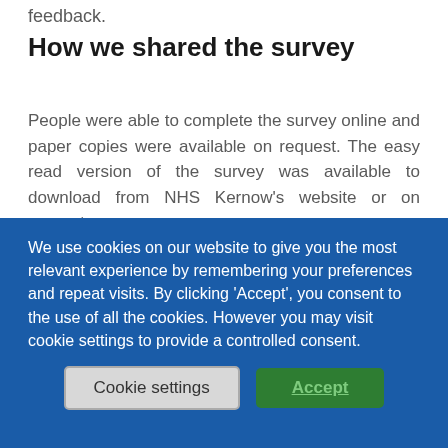feedback.
How we shared the survey
People were able to complete the survey online and paper copies were available on request. The easy read version of the survey was available to download from NHS Kernow's website or on request.
The survey was promoted widely across social media. We also made 2 videos to promote the
We use cookies on our website to give you the most relevant experience by remembering your preferences and repeat visits. By clicking 'Accept', you consent to the use of all the cookies. However you may visit cookie settings to provide a controlled consent.
Cookie settings
Accept